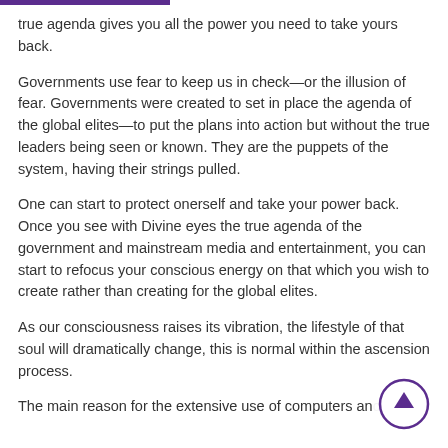true agenda gives you all the power you need to take yours back.
Governments use fear to keep us in check—or the illusion of fear. Governments were created to set in place the agenda of the global elites—to put the plans into action but without the true leaders being seen or known. They are the puppets of the system, having their strings pulled.
One can start to protect onerself and take your power back. Once you see with Divine eyes the true agenda of the government and mainstream media and entertainment, you can start to refocus your conscious energy on that which you wish to create rather than creating for the global elites.
As our consciousness raises its vibration, the lifestyle of that soul will dramatically change, this is normal within the ascension process.
The main reason for the extensive use of computers and